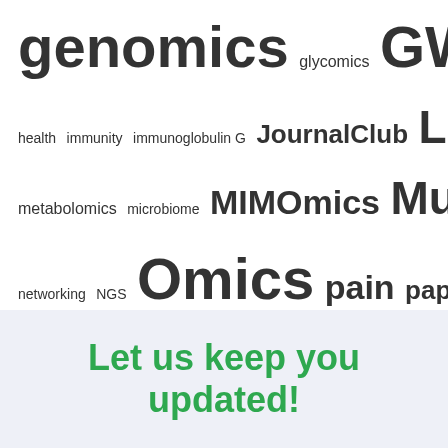[Figure (infographic): Tag cloud with scientific and bioinformatics topic keywords in varying font sizes: genomics, glycomics, GWAS, Hardware, health, immunity, immunoglobulin G, JournalClub, Linux, metabolomics, microbiome, MIMOmics, MultiOmics, networking, NGS, Omics, pain, paper, pleiotropy, projects, QTL, Reproducible Research, RSSSO, science, Server, software, software development, statistics, summer school, teaching, training, transcriptomics, ZFS]
Let us keep you updated!